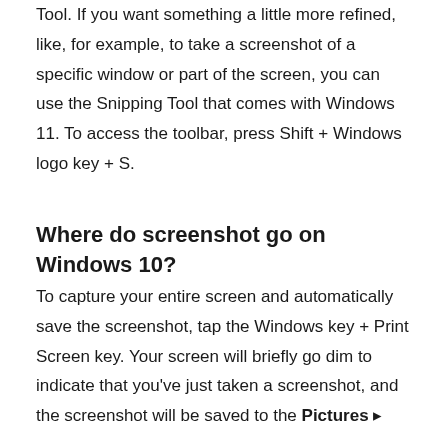Shift + Windows logo key + S brings up the Snipping Tool. If you want something a little more refined, like, for example, to take a screenshot of a specific window or part of the screen, you can use the Snipping Tool that comes with Windows 11. To access the toolbar, press Shift + Windows logo key + S.
Where do screenshot go on Windows 10?
To capture your entire screen and automatically save the screenshot, tap the Windows key + Print Screen key. Your screen will briefly go dim to indicate that you've just taken a screenshot, and the screenshot will be saved to the Pictures ▸